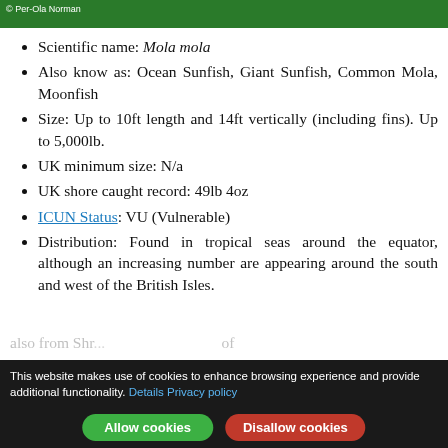[Figure (photo): Green-tinted photo strip with copyright credit '© Per-Ola Norman' at top left]
Scientific name: Mola mola
Also know as: Ocean Sunfish, Giant Sunfish, Common Mola, Moonfish
Size: Up to 10ft length and 14ft vertically (including fins). Up to 5,000lb.
UK minimum size: N/a
UK shore caught record: 49lb 4oz
ICUN Status: VU (Vulnerable)
Distribution: Found in tropical seas around the equator, although an increasing number are appearing around the south and west of the British Isles.
This website makes use of cookies to enhance browsing experience and provide additional functionality. Details Privacy policy
also from Shr... of